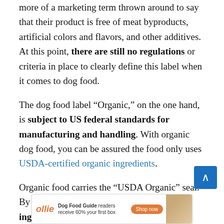more of a marketing term thrown around to say that their product is free of meat byproducts, artificial colors and flavors, and other additives. At this point, there are still no regulations or criteria in place to clearly define this label when it comes to dog food.
The dog food label “Organic,” on the one hand, is subject to US federal standards for manufacturing and handling. With organic dog food, you can be assured the food only uses USDA-certified organic ingredients.
Organic food carries the “USDA Organic” seal. By law, organic food contains 95% organic ingredients. Since it’s not easy to pass this certification, certified organic food...